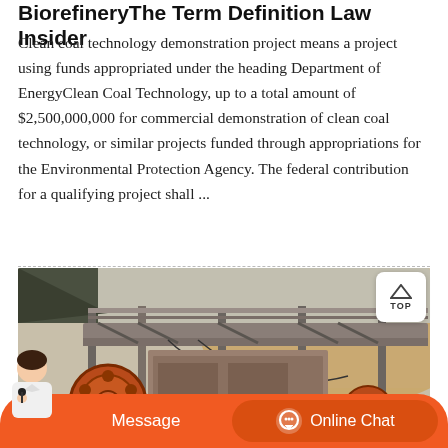BiorefineryThe Term Definition Law Insider
Clean coal technology demonstration project means a project using funds appropriated under the heading Department of EnergyClean Coal Technology, up to a total amount of $2,500,000,000 for commercial demonstration of clean coal technology, or similar projects funded through appropriations for the Environmental Protection Agency. The federal contribution for a qualifying project shall ...
[Figure (photo): Photograph of a coal crushing machine or mining equipment with large metal wheels/drums and conveyor belt structure, set outdoors with a sandy/rocky hillside background.]
Message   Online Chat